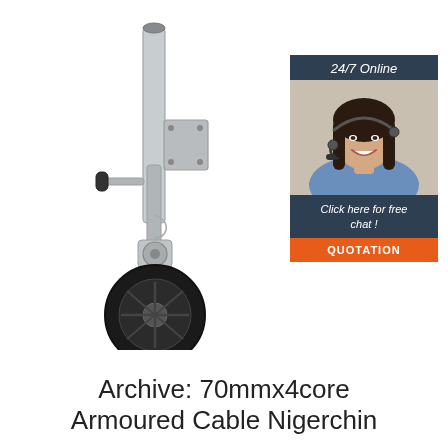[Figure (photo): A trailer jockey wheel / screw jack with a metal cylindrical post, a mounting bracket plate, a crank handle, and a black rubber wheel at the bottom. The finish is silver/galvanised steel.]
[Figure (photo): Sidebar advertisement: Dark navy background with '24/7 Online' text at top, photo of a smiling woman with a headset, text 'Click here for free chat!', and an orange button labeled 'QUOTATION'.]
Archive: 70mmx4core Armoured Cable Nigerchin